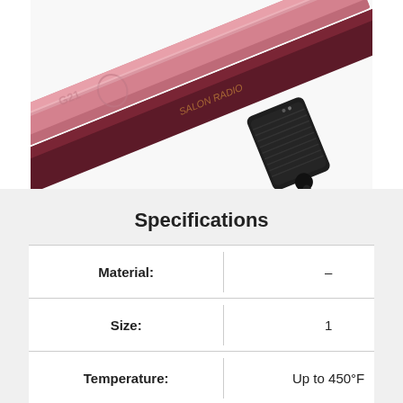[Figure (photo): Product photo showing pink and dark maroon hair straighteners/flat irons with a black handle grip, arranged diagonally on a white background.]
Specifications
| Attribute | Value |
| --- | --- |
| Material: | – |
| Size: | 1 |
| Temperature: | Up to 450°F |